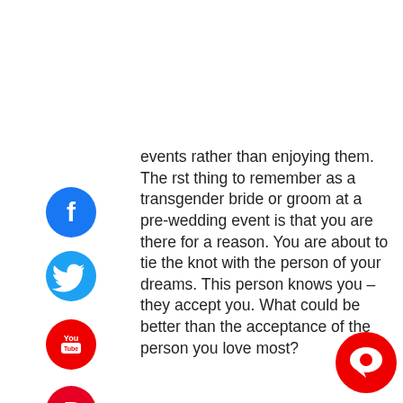[Figure (logo): Lifelong Wedding Ceremonies with T.A. Keefe logo in purple small-caps font with heart icon]
[Figure (illustration): Hamburger menu icon (three horizontal lines) in top right]
events rather than enjoying them. The rst thing to remember as a transgender bride or groom at a pre-wedding event is that you are there for a reason. You are about to tie the knot with the person of your dreams. This person knows you – they accept you. What could be better than the acceptance of the person you love most?
[Figure (illustration): Facebook social icon (blue circle with white f)]
[Figure (illustration): Twitter social icon (cyan circle with white bird)]
[Figure (illustration): YouTube social icon (red circle with You Tube)]
[Figure (illustration): Pinterest social icon (red circle with white P)]
[Figure (illustration): Instagram social icon (gradient circle with camera icon)]
Dr. Tinsley Keefe knows from her time at pre-wedding events as a wedding officiant in Oklahoma that the above
[Figure (illustration): Red chat bubble button in bottom right corner]